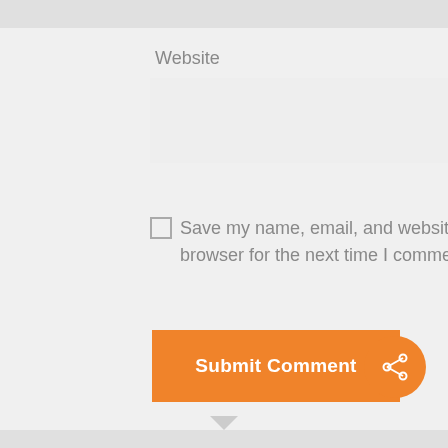Website
[Figure (screenshot): Empty text input field for website URL, light gray background]
Save my name, email, and website in this browser for the next time I comment.
[Figure (other): Submit Comment button, orange background, white bold text]
[Figure (other): Orange circular share button with share icon in bottom right corner]